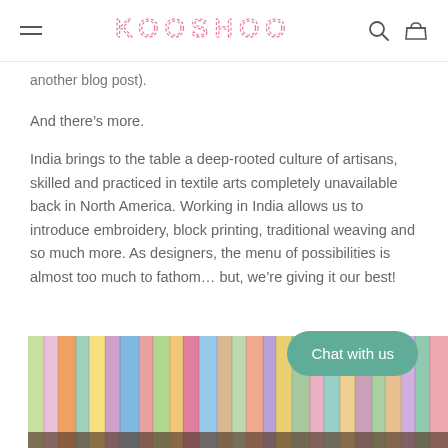KOOSHOO
another blog post).
And there’s more.
India brings to the table a deep-rooted culture of artisans, skilled and practiced in textile arts completely unavailable back in North America. Working in India allows us to introduce embroidery, block printing, traditional weaving and so much more. As designers, the menu of possibilities is almost too much to fathom… but, we’re giving it our best!
[Figure (photo): Colorful rolled fabric bolts arranged side by side in a row, displaying various floral and patterned textiles.]